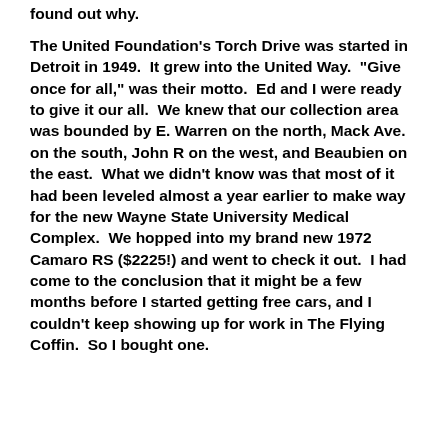found out why.
The United Foundation's Torch Drive was started in Detroit in 1949.  It grew into the United Way.  "Give once for all," was their motto.  Ed and I were ready to give it our all.  We knew that our collection area was bounded by E. Warren on the north, Mack Ave. on the south, John R on the west, and Beaubien on the east.  What we didn't know was that most of it had been leveled almost a year earlier to make way for the new Wayne State University Medical Complex.  We hopped into my brand new 1972 Camaro RS ($2225!) and went to check it out.  I had come to the conclusion that it might be a few months before I started getting free cars, and I couldn't keep showing up for work in The Flying Coffin.  So I bought one.